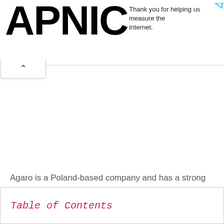APNIC
Thank you for helping us measure the Internet.
Agaro is a Poland-based company and has a strong
Table of Contents